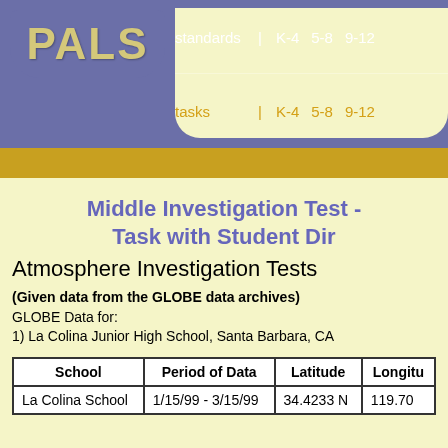[Figure (logo): PALS logo with navigation bar showing standards and tasks rows with K-4, 5-8, 9-12 links]
Middle Investigation Test - Task with Student Dir
Atmosphere Investigation Tests
(Given data from the GLOBE data archives)
GLOBE Data for:
1) La Colina Junior High School, Santa Barbara, CA
| School | Period of Data | Latitude | Longitude |
| --- | --- | --- | --- |
| La Colina School | 1/15/99 - 3/15/99 | 34.4233 N | 119.70 |